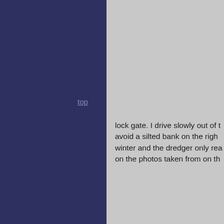top
lock gate. I drive slowly out of t avoid a silted bank on the righ winter and the dredger only rea on the photos taken from on th